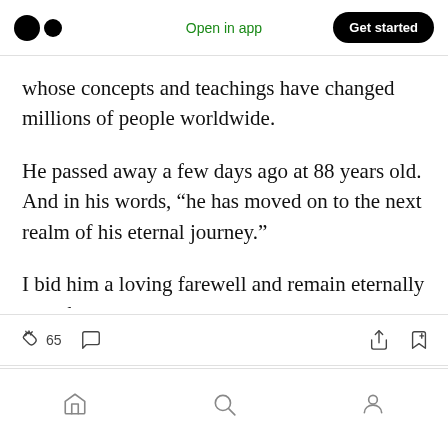Medium logo | Open in app | Get started
whose concepts and teachings have changed millions of people worldwide.
He passed away a few days ago at 88 years old. And in his words, “he has moved on to the next realm of his eternal journey.”
I bid him a loving farewell and remain eternally grateful to his teachings.
65 claps, comment icon, share icon, bookmark icon | home, search, profile navigation